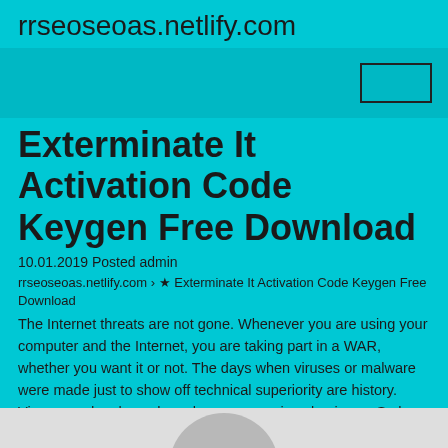rrseoseoas.netlify.com
Exterminate It Activation Code Keygen Free Download
10.01.2019 Posted admin
rrseoseoas.netlify.com › ★ Exterminate It Activation Code Keygen Free Download
The Internet threats are not gone. Whenever you are using your computer and the Internet, you are taking part in a WAR, whether you want it or not. The days when viruses or malware were made just to show off technical superiority are history. Viruses and malware have become a serious business. So have the threats from them. Now they range from showing unwanted advertisement to stealing your credit card information to turning your computer into an Accomplice in attacking web sites and spreading viruses further.
[Figure (photo): Bottom portion of page showing a light gray image area with a circular graphic element partially visible]